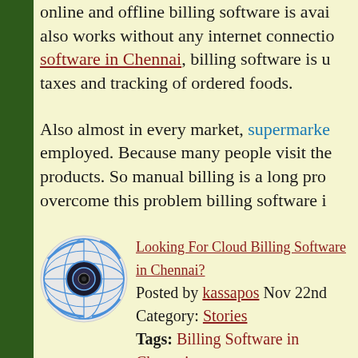online and offline billing software is available. also works without any internet connection. software in Chennai, billing software is used for taxes and tracking of ordered foods.
Also almost in every market, supermarket billing software is employed. Because many people visit the store to buy products. So manual billing is a long process. To overcome this problem billing software is used.
[Figure (logo): Circular avatar/logo icon with globe and camera lens design]
Looking For Cloud Billing Software in Chennai? Posted by kassapos Nov 22nd Category: Stories Tags: Billing Software in Chennai